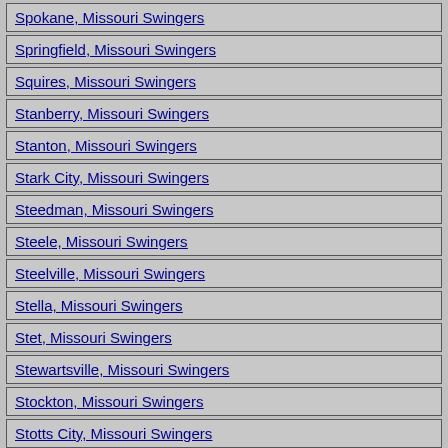Spokane, Missouri Swingers
Springfield, Missouri Swingers
Squires, Missouri Swingers
Stanberry, Missouri Swingers
Stanton, Missouri Swingers
Stark City, Missouri Swingers
Steedman, Missouri Swingers
Steele, Missouri Swingers
Steelville, Missouri Swingers
Stella, Missouri Swingers
Stet, Missouri Swingers
Stewartsville, Missouri Swingers
Stockton, Missouri Swingers
Stotts City, Missouri Swingers
Stoutland, Missouri Swingers
Stoutsville, Missouri Swingers
Stover, Missouri Swingers
Strafford, Missouri Swingers